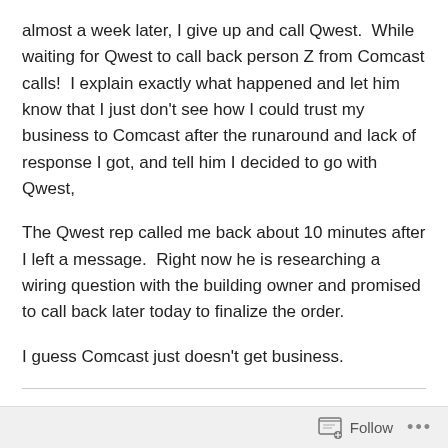almost a week later, I give up and call Qwest.  While waiting for Qwest to call back person Z from Comcast calls!  I explain exactly what happened and let him know that I just don't see how I could trust my business to Comcast after the runaround and lack of response I got, and tell him I decided to go with Qwest,
The Qwest rep called me back about 10 minutes after I left a message.  Right now he is researching a wiring question with the building owner and promised to call back later today to finalize the order.
I guess Comcast just doesn't get business.
Share this: